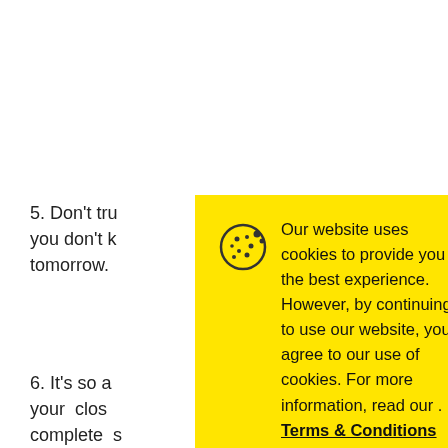5. Don't tru you don't k tomorrow.
6. It's so a your close complete s Trialsandte
[Figure (screenshot): Cookie consent modal with yellow background, cookie icon, close X button, text about website cookie use with Terms & Conditions link, and Accept button]
Our website uses cookies to provide you the best experience. However, by continuing to use our website, you agree to our use of cookies. For more information, read our . Terms & Conditions
Accept